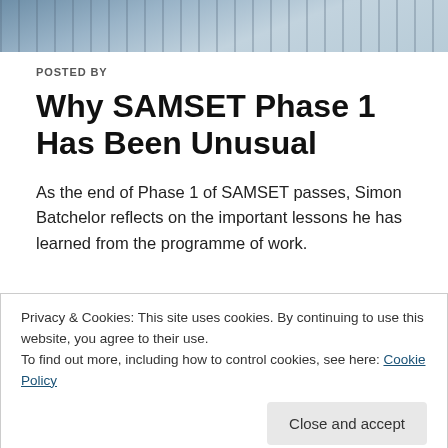[Figure (photo): Header photo of boats/harbour with blue-grey sky and water]
POSTED BY
Why SAMSET Phase 1 Has Been Unusual
As the end of Phase 1 of SAMSET passes, Simon Batchelor reflects on the important lessons he has learned from the programme of work.
Privacy & Cookies: This site uses cookies. By continuing to use this website, you agree to their use.
To find out more, including how to control cookies, see here: Cookie Policy
Close and accept